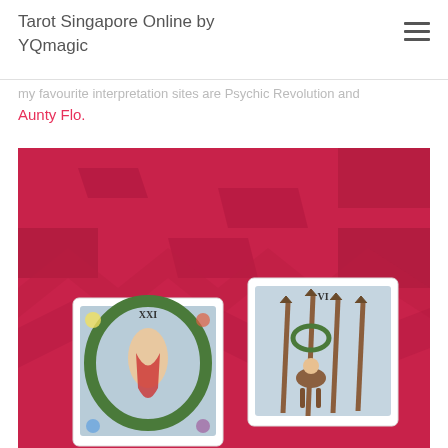Tarot Singapore Online by YQmagic
my favourite interpretation sites are Psychic Revolution and Aunty Flo.
[Figure (photo): Two tarot cards (The World XXI and Six of Wands VI) placed on a bright pink/red patterned fabric background]